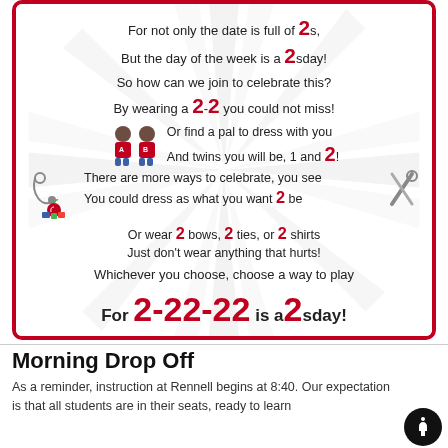[Figure (infographic): Red-bordered calendar card with sunburst background containing a poem about celebrating 2-22-22 Twosday, with icons of twins, a tutu, medical/work icons.]
Morning Drop Off
As a reminder, instruction at Rennell begins at 8:40. Our expectation is that all students are in their seats, ready to learn